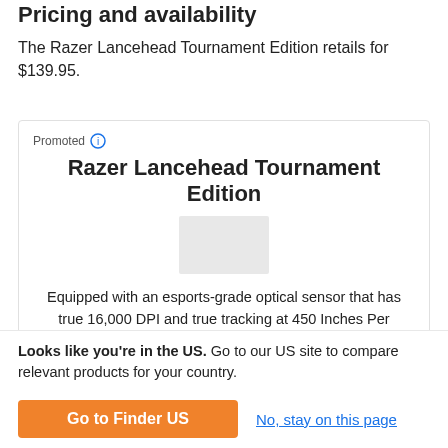Pricing and availability
The Razer Lancehead Tournament Edition retails for $139.95.
[Figure (screenshot): Promoted advertisement card for Razer Lancehead Tournament Edition with product image placeholder, description text, and teal button at bottom]
Looks like you're in the US. Go to our US site to compare relevant products for your country.
Go to Finder US
No, stay on this page